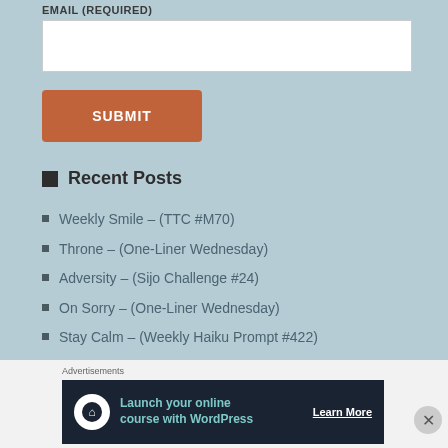EMAIL (REQUIRED)
[email input field]
SUBMIT
Recent Posts
Weekly Smile – (TTC #M70)
Throne – (One-Liner Wednesday)
Adversity – (Sijo Challenge #24)
On Sorry – (One-Liner Wednesday)
Stay Calm – (Weekly Haiku Prompt #422)
Goals – (Sijo Challenge #21)
The Root – (Tanka Tuesday #283)
Advertisements
[Figure (infographic): Advertisement banner: Launch your online course with WordPress – Learn More]